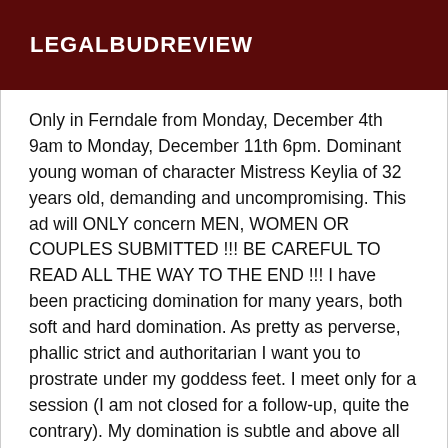LEGALBUDREVIEW
Only in Ferndale from Monday, December 4th 9am to Monday, December 11th 6pm. Dominant young woman of character Mistress Keylia of 32 years old, demanding and uncompromising. This ad will ONLY concern MEN, WOMEN OR COUPLES SUBMITTED !!! BE CAREFUL TO READ ALL THE WAY TO THE END !!! I have been practicing domination for many years, both soft and hard domination. As pretty as perverse, phallic strict and authoritarian I want you to prostrate under my goddess feet. I meet only for a session (I am not closed for a follow-up, quite the contrary). My domination is subtle and above all cerebral more than physical. I want you to be docile and obedient during the session, clean it goes without saying! And if you practice anal sex, the enema is done before the session. Here is a non-exhaustive list of practices: -Fetishism of the feet and shoes: Nothing is more normal than to be at your Mistress's boot, licking